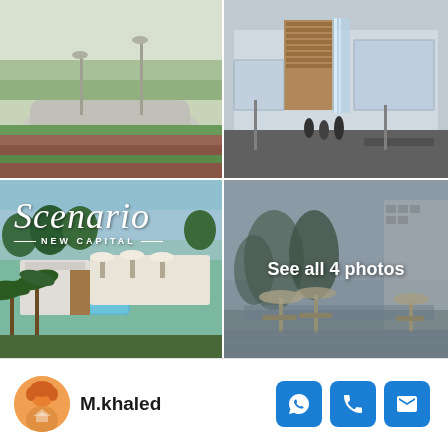[Figure (photo): Top-left: Aerial/ground view of a modern landscape path with green lawns and reddish ground cover]
[Figure (photo): Top-right: Modern commercial building with waterfall feature and glass facades, people walking outside]
[Figure (photo): Bottom-left: Aerial view of Scenario New Capital development with pool, palm trees, white umbrellas and modern structures. Scenario New Capital logo overlaid.]
[Figure (photo): Bottom-right: Resort poolside area with umbrella sunbeds, trees, and residential buildings in background. 'See all 4 photos' text overlaid.]
M.khaled